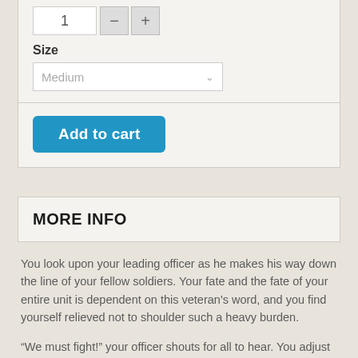1
Size
Medium
Add to cart
MORE INFO
You look upon your leading officer as he makes his way down the line of your fellow soldiers. Your fate and the fate of your entire unit is dependent on this veteran's word, and you find yourself relieved not to shoulder such a heavy burden.
“We must fight!” your officer shouts for all to hear. You adjust your Milanese Armour, double checking the buckles as you listen to him continue. “For our homes and for our families, we will fight until we can fight no more!” With a resounding cheer, your fellow